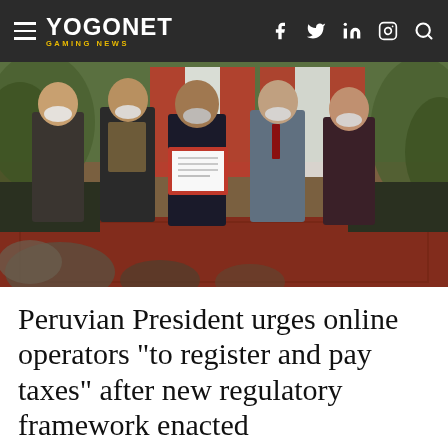YOGONET GAMING NEWS
[Figure (photo): Five people wearing face masks standing in a formal setting in front of Peruvian flags; the central person holds open a red-bound official document. Audience members visible in the foreground.]
Peruvian President urges online operators "to register and pay taxes" after new regulatory framework enacted